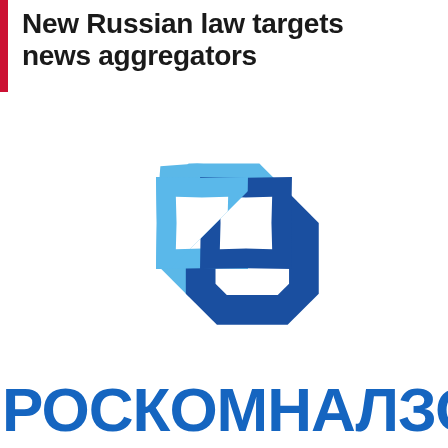New Russian law targets news aggregators
[Figure (logo): Roskomnadzor logo — interlocking chain-link diamond shape in two-tone blue (light blue and dark navy blue)]
РОСКОМНАЛЗО